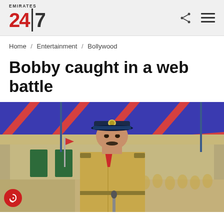EMIRATES 24|7
Home / Entertainment / Bollywood
Bobby caught in a web battle
[Figure (photo): Man dressed in Indian police officer uniform with khaki shirt, dark navy peaked cap with badge, and epaulettes, standing outdoors at what appears to be a police parade ground. Red and blue striped canopy in background, rows of uniformed officers visible behind.]